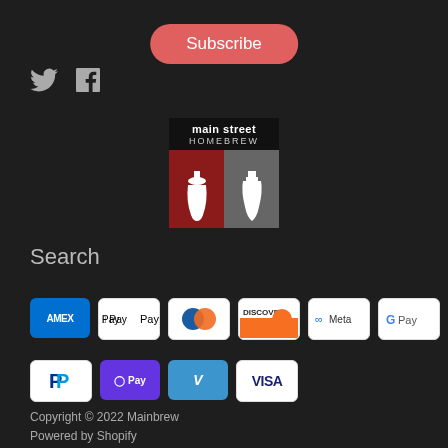Subscribe
[Figure (logo): Twitter and Facebook social media icons]
[Figure (logo): Main Street Homebrew logo - red and grey design with wine glass and bottle silhouettes]
Search
[Figure (other): Payment method icons: AMEX, Apple Pay, Diners Club, Discover, Meta, Google Pay, Mastercard, PayPal, Samsung Pay, Venmo, VISA]
Copyright © 2022 Mainbrew
Powered by Shopify